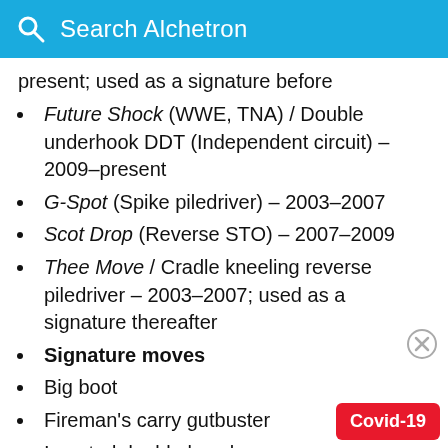Search Alchetron
present; used as a signature before
Future Shock (WWE, TNA) / Double underhook DDT (Independent circuit) – 2009–present
G-Spot (Spike piledriver) – 2003–2007
Scot Drop (Reverse STO) – 2007–2009
Thee Move / Cradle kneeling reverse piledriver – 2003–2007; used as a signature thereafter
Signature moves
Big boot
Fireman's carry gutbuster
Inverted double leg slam
Neckbreaker onto the knee
Northern Lights suplex
Short-arm clothesline